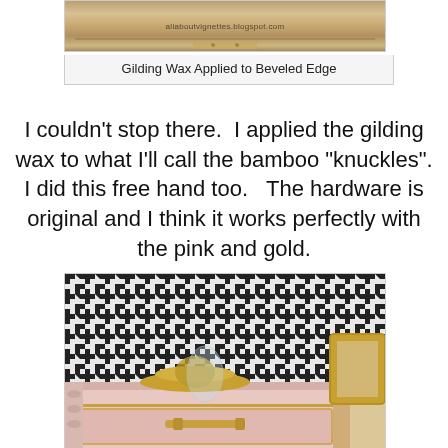[Figure (photo): Photo of a piece of furniture with gilding wax applied to beveled edge, with watermark text 'aliaboutvignettes.blogspot.com']
Gilding Wax Applied to Beveled Edge
I couldn't stop there.  I applied the gilding wax to what I'll call the bamboo "knuckles".
I did this free hand too.   The hardware is original and I think it works perfectly with the pink and gold.
[Figure (photo): Photo of a pink dresser/nightstand with gold bamboo knuckle details and gold hardware, against a black and white houndstooth wallpaper background, with decorative gold items on top]